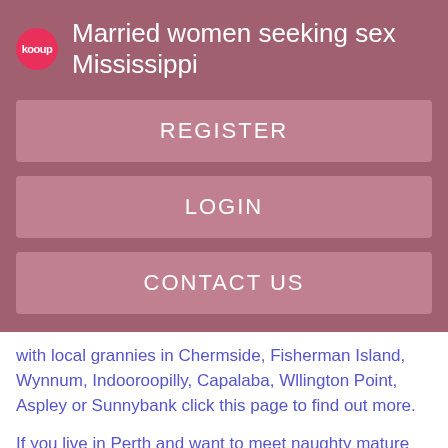Married women seeking sex Mississippi
REGISTER
LOGIN
CONTACT US
with local grannies in Chermside, Fisherman Island, Wynnum, Indooroopilly, Capalaba, Wllington Point, Aspley or Sunnybank click this page to find out more.
If you live in Perth and want to meet naughty mature ladies for dates in Subiaco, Cottesloe, Osborne Park, Balcatta, Welshpool, Morley, Hazelmere or Mirrabooka we have the perfect local granny dating site for you. Read what some of our excitable grannies have to say about this site.